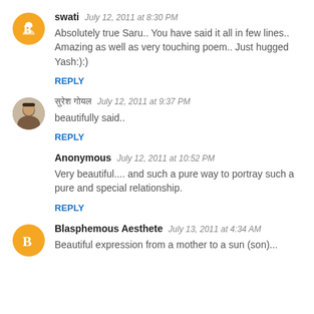swati  July 12, 2011 at 8:30 PM
Absolutely true Saru.. You have said it all in few lines..
Amazing as well as very touching poem.. Just hugged Yash:):)
REPLY
हिंदी नाम  July 12, 2011 at 9:37 PM
beautifully said..
REPLY
Anonymous  July 12, 2011 at 10:52 PM
Very beautiful.... and such a pure way to portray such a pure and special relationship.
REPLY
Blasphemous Aesthete  July 13, 2011 at 4:34 AM
Beautiful expression from a mother to a sun (son)...